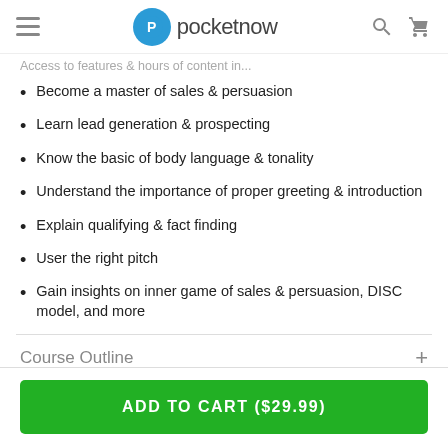pocketnow
Access to features & hours of content in...
Become a master of sales & persuasion
Learn lead generation & prospecting
Know the basic of body language & tonality
Understand the importance of proper greeting & introduction
Explain qualifying & fact finding
User the right pitch
Gain insights on inner game of sales & persuasion, DISC model, and more
Course Outline
ADD TO CART ($29.99)